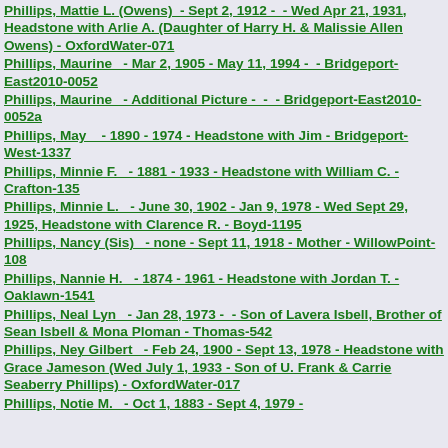Phillips, Mattie L. (Owens)  - Sept 2, 1912 -  - Wed Apr 21, 1931, Headstone with Arlie A. (Daughter of Harry H. & Malissie Allen Owens) - OxfordWater-071
Phillips, Maurine   - Mar 2, 1905 - May 11, 1994 -  - Bridgeport-East2010-0052
Phillips, Maurine   - Additional Picture -  -  - Bridgeport-East2010-0052a
Phillips, May    - 1890 - 1974 - Headstone with Jim - Bridgeport-West-1337
Phillips, Minnie F.   - 1881 - 1933 - Headstone with William C. - Crafton-135
Phillips, Minnie L.   - June 30, 1902 - Jan 9, 1978 - Wed Sept 29, 1925, Headstone with Clarence R. - Boyd-1195
Phillips, Nancy (Sis)   - none - Sept 11, 1918 - Mother - WillowPoint-108
Phillips, Nannie H.   - 1874 - 1961 - Headstone with Jordan T. - Oaklawn-1541
Phillips, Neal Lyn   - Jan 28, 1973 -  - Son of Lavera Isbell, Brother of Sean Isbell & Mona Ploman - Thomas-542
Phillips, Ney Gilbert   - Feb 24, 1900 - Sept 13, 1978 - Headstone with Grace Jameson (Wed July 1, 1933 - Son of U. Frank & Carrie Seaberry Phillips) - OxfordWater-017
Phillips, Notie M.   - Oct 1, 1883 - Sept 4, 1979 -